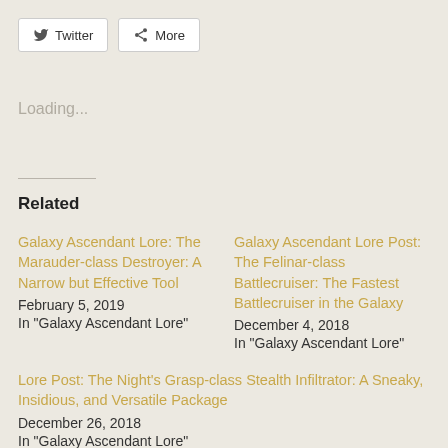Twitter   More
Loading...
Related
Galaxy Ascendant Lore: The Marauder-class Destroyer: A Narrow but Effective Tool
February 5, 2019
In "Galaxy Ascendant Lore"
Galaxy Ascendant Lore Post: The Felinar-class Battlecruiser: The Fastest Battlecruiser in the Galaxy
December 4, 2018
In "Galaxy Ascendant Lore"
Lore Post: The Night’s Grasp-class Stealth Infiltrator: A Sneaky, Insidious, and Versatile Package
December 26, 2018
In "Galaxy Ascendant Lore"